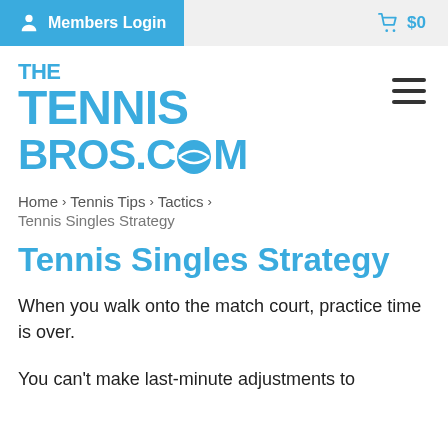Members Login   $0
[Figure (logo): The Tennis Bros .com logo in blue bold uppercase text]
Home > Tennis Tips > Tactics >
Tennis Singles Strategy
Tennis Singles Strategy
When you walk onto the match court, practice time is over.
You can't make last-minute adjustments to